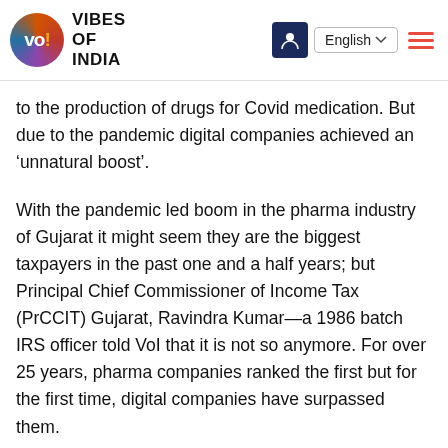VIBES OF INDIA
to the production of drugs for Covid medication. But due to the pandemic digital companies achieved an ‘unnatural boost’.
With the pandemic led boom in the pharma industry of Gujarat it might seem they are the biggest taxpayers in the past one and a half years; but Principal Chief Commissioner of Income Tax (PrCCIT) Gujarat, Ravindra Kumar—a 1986 batch IRS officer told VoI that it is not so anymore. For over 25 years, pharma companies ranked the first but for the first time, digital companies have surpassed them.